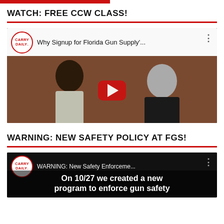WATCH: FREE CCW CLASS!
[Figure (screenshot): YouTube video thumbnail: 'Why Signup for Florida Gun Supply'... by Carry Daily channel, showing two people in a classroom setting with a YouTube play button overlay and video controls showing 00:00 / 00:28]
WARNING: NEW SAFETY POLICY AT FGS!
[Figure (screenshot): YouTube video thumbnail: 'WARNING: New Safety Enforceme...' by Carry Daily channel, with overlay text 'On 10/27 we created a new program to enforce gun safety']